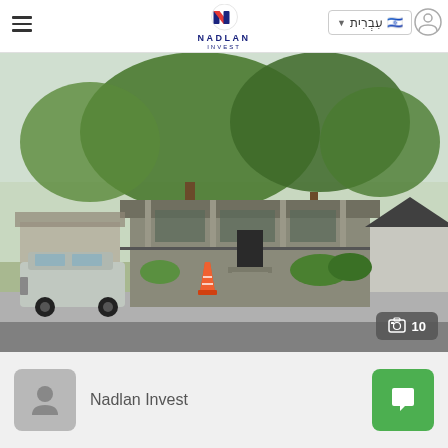Nadlan Invest — navigation header with hamburger menu, logo, language selector (עברית), and user icon
[Figure (photo): Street-level photograph of a single-story residential house with trees in front, a white Jeep SUV parked on the left, an orange traffic cone on the sidewalk, and another house visible on the right. Image gallery badge shows 10 photos.]
Nadlan Invest